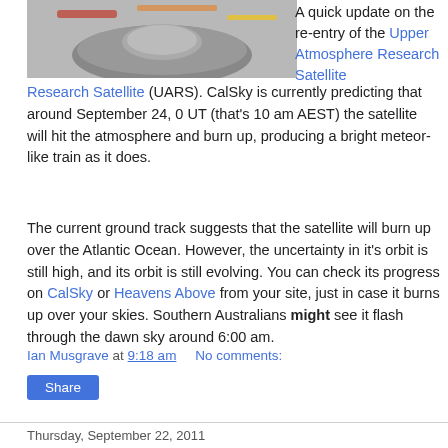[Figure (photo): Partial image of a satellite or spacecraft at top of page]
A quick update on the re-entry of the Upper Atmosphere Research Satellite (UARS). CalSky is currently predicting that around September 24, 0 UT (that's 10 am AEST) the satellite will hit the atmosphere and burn up, producing a bright meteor-like train as it does.
The current ground track suggests that the satellite will burn up over the Atlantic Ocean. However, the uncertainty in it's orbit is still high, and its orbit is still evolving. You can check its progress on CalSky or Heavens Above from your site, just in case it burns up over your skies. Southern Australians might see it flash through the dawn sky around 6:00 am.
Ian Musgrave at 9:18 am   No comments:
Share
Thursday, September 22, 2011
Comet C/2009 P1 Garrad, September 20